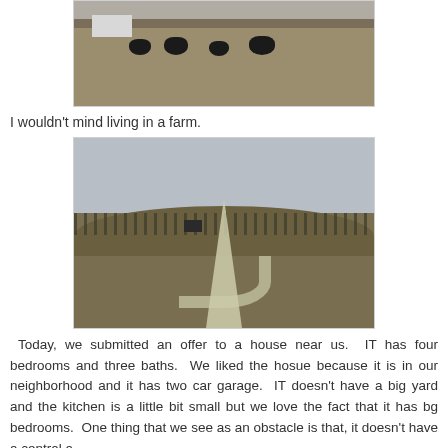[Figure (photo): Photograph of cattle grazing in a brown field with a white farm building visible in the background and overcast sky.]
I wouldn't mind living in a farm.
[Figure (photo): Photograph of a winding rural road or driveway cutting through rolling brown fields with bare winter trees and an overcast grey sky.]
Today, we submitted an offer to a house near us. IT has four bedrooms and three baths. We liked the hosue because it is in our neighborhood and it has two car garage. IT doesn't have a big yard and the kitchen is a little bit small but we love the fact that it has bg bedrooms. One thing that we see as an obstacle is that, it doesn't have a central a.